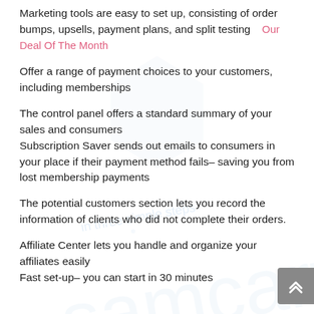Marketing tools are easy to set up, consisting of order bumps, upsells, payment plans, and split testing
Offer a range of payment choices to your customers, including memberships
The control panel offers a standard summary of your sales and consumers
Subscription Saver sends out emails to consumers in your place if their payment method fails– saving you from lost membership payments
The potential customers section lets you record the information of clients who did not complete their orders.
Affiliate Center lets you handle and organize your affiliates easily
Fast set-up– you can start in 30 minutes